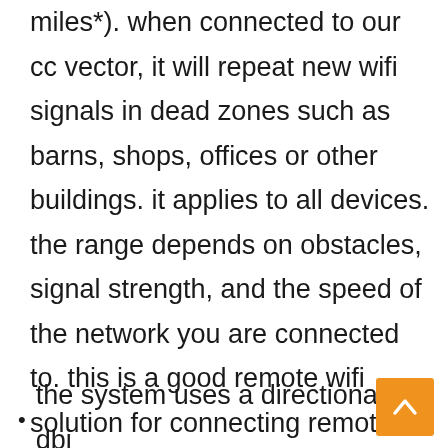miles*). when connected to our cc vector, it will repeat new wifi signals in dead zones such as barns, shops, offices or other buildings. it applies to all devices. the range depends on obstacles, signal strength, and the speed of the network you are connected to. this is a good remote wifi solution for connecting remote locations to remote routers and saving internet costs.
the system uses a directional 15 dbi